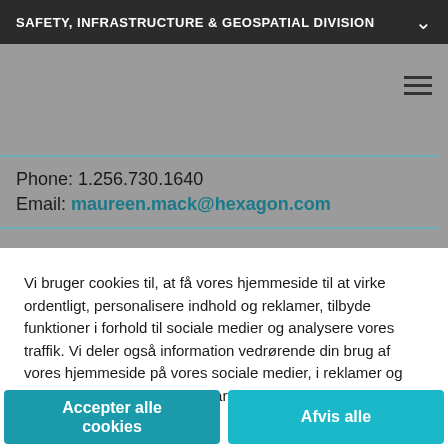SAFETY, INFRASTRUCTURE & GEOSPATIAL DIVISION
Phone: 1.256.730.1640
Email: maureen.mack@hexagon.com
Vi bruger cookies til, at få vores hjemmeside til at virke ordentligt, personalisere indhold og reklamer, tilbyde funktioner i forhold til sociale medier og analysere vores traffik. Vi deler også information vedrørende din brug af vores hjemmeside på vores sociale medier, i reklamer og med analytiske samarbejdspartnere.
Accepter alle cookies
Afvis alle